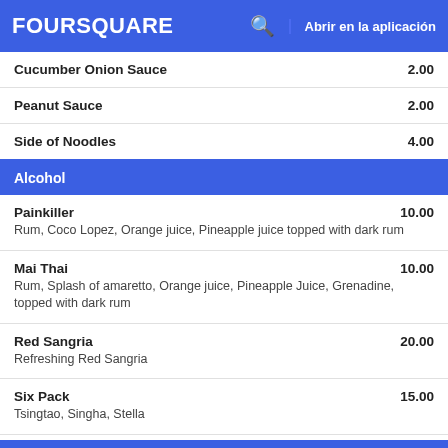FOURSQUARE  Abrir en la aplicación
Cucumber Onion Sauce  2.00
Peanut Sauce  2.00
Side of Noodles  4.00
Alcohol
Painkiller  10.00
Rum, Coco Lopez, Orange juice, Pineapple juice topped with dark rum
Mai Thai  10.00
Rum, Splash of amaretto, Orange juice, Pineapple Juice, Grenadine, topped with dark rum
Red Sangria  20.00
Refreshing Red Sangria
Six Pack  15.00
Tsingtao, Singha, Stella
Bottled Beer  3.00
Tsingtao, Singha, Stella